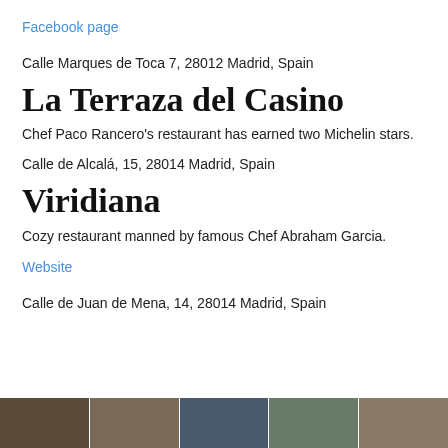Facebook page
Calle Marques de Toca 7, 28012 Madrid, Spain
La Terraza del Casino
Chef Paco Rancero's restaurant has earned two Michelin stars.
Calle de Alcalá, 15, 28014 Madrid, Spain
Viridiana
Cozy restaurant manned by famous Chef Abraham Garcia.
Website
Calle de Juan de Mena, 14, 28014 Madrid, Spain
[Figure (photo): Strip of restaurant photos at bottom of page]